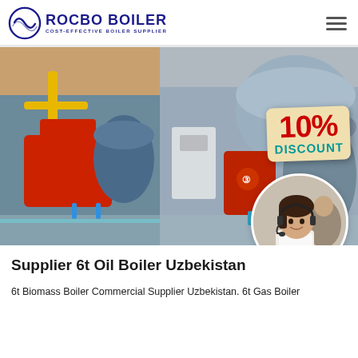[Figure (logo): Rocbo Boiler logo with circular graphic and text 'ROCBO BOILER / COST-EFFECTIVE BOILER SUPPLIER']
[Figure (photo): Industrial boiler facility showing red and blue boilers in a factory setting with a 10% DISCOUNT badge overlay and a female customer service agent in a circular photo]
Supplier 6t Oil Boiler Uzbekistan
6t Biomass Boiler Commercial Supplier Uzbekistan. 6t Gas Boiler